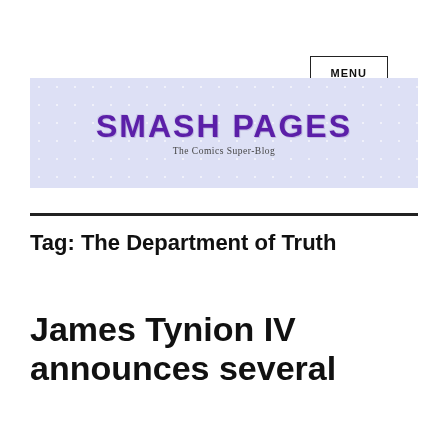MENU
[Figure (logo): Smash Pages logo banner — purple distressed text 'SMASH PAGES' on a light blue/lavender background with white star pattern. Subtitle reads 'The Comics Super-Blog'.]
Tag: The Department of Truth
James Tynion IV announces several